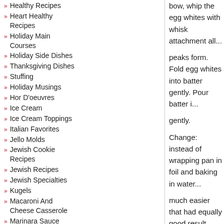Healthy Recipes
Heart Healthy Recipes
Holiday Main Courses
Holiday Side Dishes
Thanksgiving Dishes
Stuffing
Holiday Musings
Hor D'oeuvres
Ice Cream
Ice Cream Toppings
Italian Favorites
Jello Molds
Jewish Cookie Recipes
Jewish Recipes
Jewish Specialties
Kugels
Macaroni And Cheese Casserole
Marinara Sauce
bow, whip the egg whites with whisk attachment all...peaks form.  Fold egg whites into batter gently. Pour batter in gently.
Change:  instead of wrapping pan in foil and baking in water much easier that had equally good result.  Place roasting pa... with water.  Place this pan on a rack just below the rack you'... cheesecake on.  The steam has same effect as water bath.
Bake in middle of oven at 325 degrees for 1 hour and 10 min... slightly, keeping it open with a wooden spoon.  Let sit in ove... is almost totally cool.  Let sit out on the counter for another h... wrap and refrigerate until ready to serve.
I recommend making this at least 1 day in advance.
Note: I'd like to try whipping up about a half pint of whipped c... spreading it on top, then topping with some thinly sliced straw... Or just slice up some fresh strawberries or a mixture of berrie...
Raspberry Swirl Variation :  Tried on Mother's Day 2014 with...